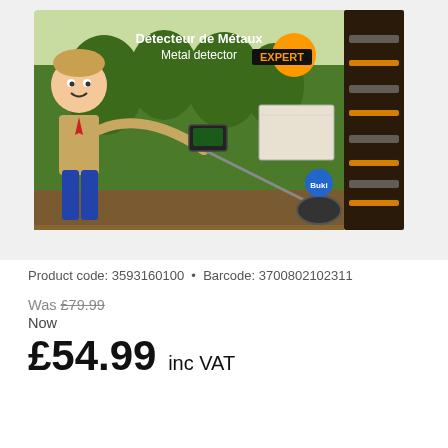[Figure (photo): Product box for 'Détecteur de Métaux / Metal detector EXPERT' toy by Buki. The box shows a cartoon boy scout character holding a metal detector, set against a forest background. Box labelled in multiple languages. Features an orange circle with '15' on it. Includes side panel with multilingual EXPERT labels.]
Product code: 3593160100  •  Barcode: 3700802102311
Was £79.99
Now
£54.99 inc VAT